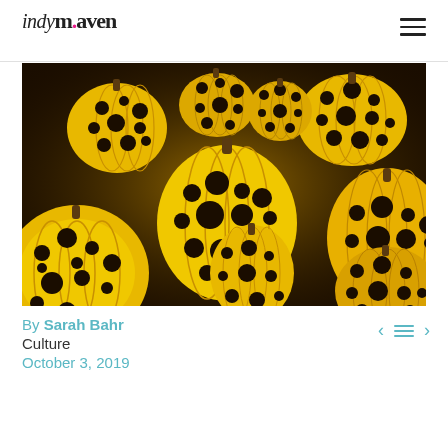indy maven
[Figure (photo): Large installation photo of many yellow pumpkins with black polka dots covering entire frame, illuminated against dark background — artwork by Yayoi Kusama]
By Sarah Bahr
Culture
October 3, 2019